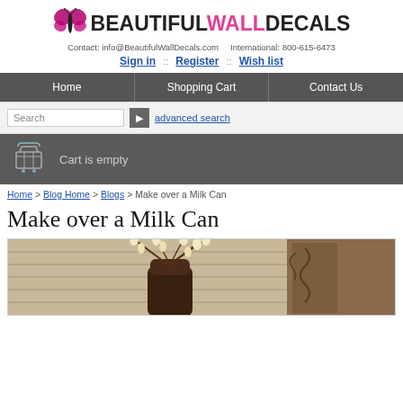BEAUTIFULWALLDECALS - Contact: info@BeautifulWallDecals.com International: 800-615-6473 Sign in :: Register :: Wish list
[Figure (logo): BeautifulWallDecals logo with butterfly icon and stylized text]
Contact: info@BeautifulWallDecals.com   International: 800-615-6473
Sign in :: Register :: Wish list
Home   Shopping Cart   Contact Us
Search  advanced search
Cart is empty
Home > Blog Home > Blogs > Make over a Milk Can
Make over a Milk Can
[Figure (photo): Photo of a decorative arrangement with twigs and flowers in a milk can, placed near a door with scrollwork decor]